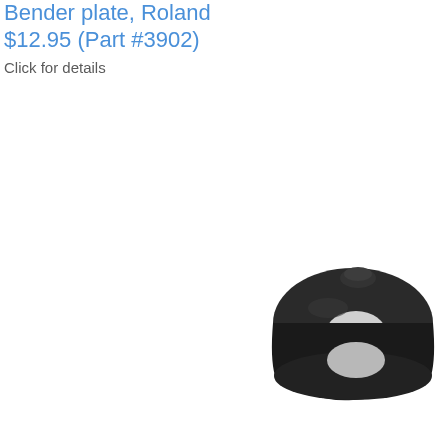Bender plate, Roland
$12.95 (Part #3902)
Click for details
[Figure (photo): A small black rubber ring/bushing (bender plate part) photographed on white background, positioned in lower-right of page.]